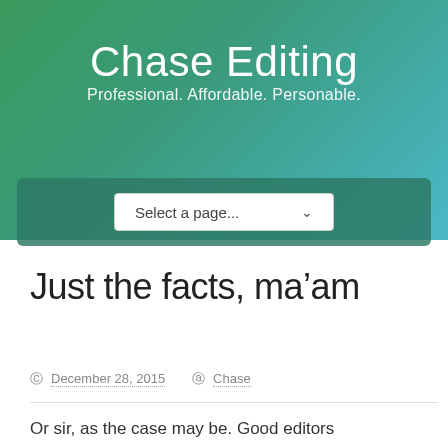Chase Editing
Professional. Affordable. Personable.
[Figure (screenshot): Navigation dropdown selector reading 'Select a page...']
Just the facts, ma’am
○ December 28, 2015   ◎ Chase
Or sir, as the case may be. Good editors often channel Sergeant Joe Friday, the quizzical